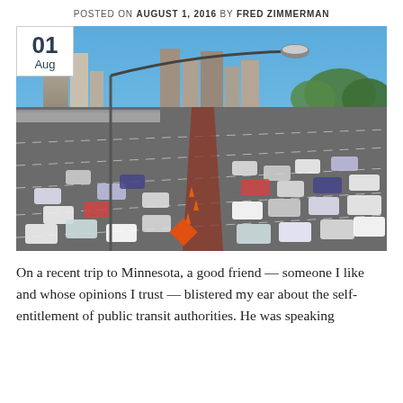POSTED ON AUGUST 1, 2016 BY FRED ZIMMERMAN
[Figure (photo): Aerial view of a congested multi-lane urban highway with city skyline in background, a street lamp arching over the road, orange construction cones in median, and heavy traffic in all lanes. A date badge overlay in the top-left corner shows '01 Aug'.]
On a recent trip to Minnesota, a good friend — someone I like and whose opinions I trust — blistered my ear about the self-entitlement of public transit authorities. He was speaking